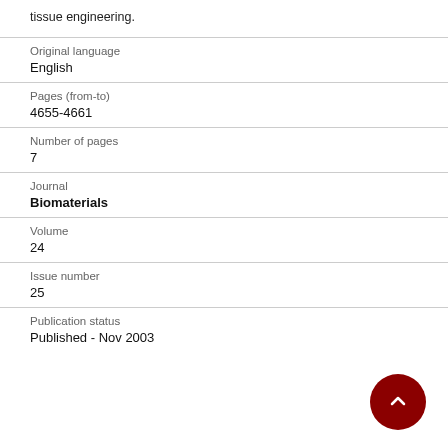tissue engineering.
| Original language | English |
| Pages (from-to) | 4655-4661 |
| Number of pages | 7 |
| Journal | Biomaterials |
| Volume | 24 |
| Issue number | 25 |
| Publication status | Published - Nov 2003 |